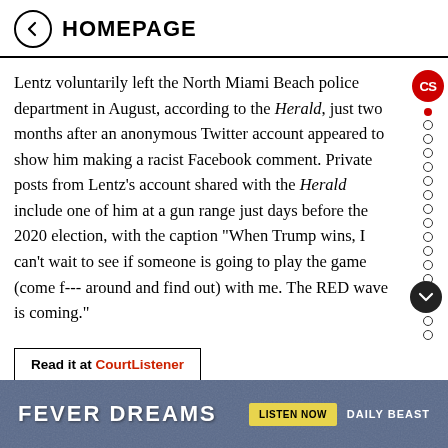HOMEPAGE
Lentz voluntarily left the North Miami Beach police department in August, according to the Herald, just two months after an anonymous Twitter account appeared to show him making a racist Facebook comment. Private posts from Lentz’s account shared with the Herald include one of him at a gun range just days before the 2020 election, with the caption “When Trump wins, I can’t wait to see if someone is going to play the game (come f--- around and find out) with me. The RED wave is coming.”
Read it at CourtListener